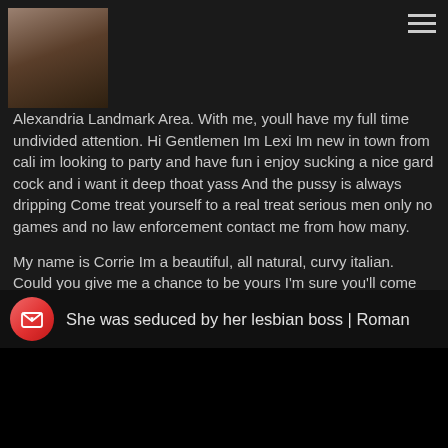[Figure (photo): Small avatar photo of a man in the top left corner]
Alexandria Landmark Area. With me, youll have my full time undivided attention. Hi Gentlemen Im Lexi Im new in town from cali im looking to party and have fun i enjoy sucking a nice gard cock and i want it deep thoat yass And the pussy is always dripping Come treat yourself to a real treat serious men only no games and no law enforcement contact me from how many.
My name is Corrie Im a beautiful, all natural, curvy italian. Could you give me a chance to be yours I'm sure you'll come back for more See my website for info www.
I am super playful. I am available for incalls and outcalls. Northern Virginia. No Appts Past 10pm!
[Figure (screenshot): Video thumbnail with pink/red circular icon with envelope and heart, title reads: She was seduced by her lesbian boss | Roman]